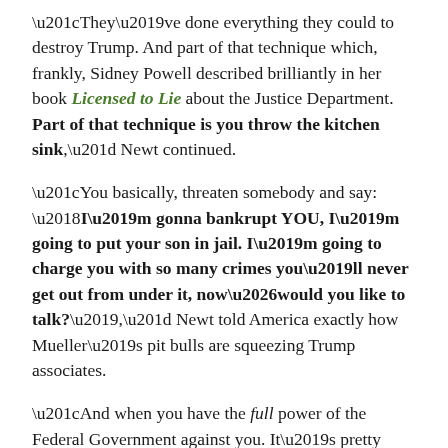“They’ve done everything they could to destroy Trump. And part of that technique which, frankly, Sidney Powell described brilliantly in her book Licensed to Lie about the Justice Department. Part of that technique is you throw the kitchen sink,” Newt continued.
“You basically, threaten somebody and say: ‘I’m gonna bankrupt YOU, I’m going to put your son in jail. I’m going to charge you with so many crimes you’ll never get out from under it, now…would you like to talk?’,” Newt told America exactly how Mueller’s pit bulls are squeezing Trump associates.
“And when you have the full power of the Federal Government against you. It’s pretty tough not to try to find a way to get them off your back. But it